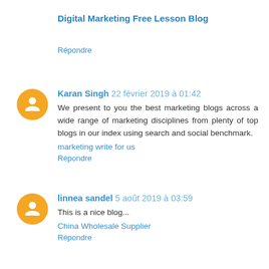Digital Marketing Free Lesson Blog
Répondre
Karan Singh 22 février 2019 à 01:42
We present to you the best marketing blogs across a wide range of marketing disciplines from plenty of top blogs in our index using search and social benchmark.
marketing write for us
Répondre
linnea sandel 5 août 2019 à 03:59
This is a nice blog...
China Wholesale Supplier
Répondre